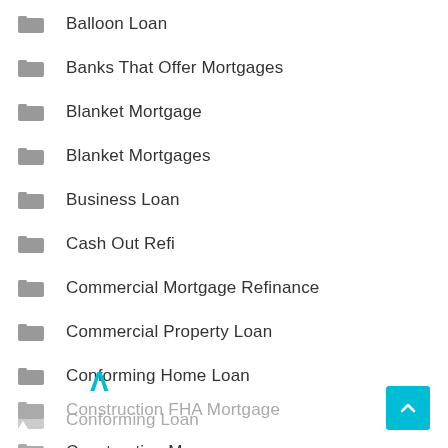Balloon Loan
Banks That Offer Mortgages
Blanket Mortgage
Blanket Mortgages
Business Loan
Cash Out Refi
Commercial Mortgage Refinance
Commercial Property Loan
Conforming Home Loan
Conforming Loan
Construction FHA Mortgage
Construction Mo...